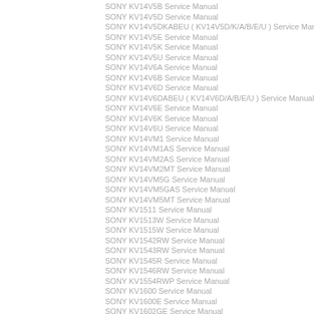SONY KV14V5B Service Manual
SONY KV14V5D Service Manual
SONY KV14V5DKABEU ( KV14V5D/K/A/B/E/U ) Service Manual
SONY KV14V5E Service Manual
SONY KV14V5K Service Manual
SONY KV14V5U Service Manual
SONY KV14V6A Service Manual
SONY KV14V6B Service Manual
SONY KV14V6D Service Manual
SONY KV14V6DABEU ( KV14V6D/A/B/E/U ) Service Manual
SONY KV14V6E Service Manual
SONY KV14V6K Service Manual
SONY KV14V6U Service Manual
SONY KV14VM1 Service Manual
SONY KV14VM1AS Service Manual
SONY KV14VM2AS Service Manual
SONY KV14VM2MT Service Manual
SONY KV14VM5G Service Manual
SONY KV14VM5GAS Service Manual
SONY KV14VM5MT Service Manual
SONY KV1511 Service Manual
SONY KV1513W Service Manual
SONY KV1515W Service Manual
SONY KV1542RW Service Manual
SONY KV1543RW Service Manual
SONY KV1545R Service Manual
SONY KV1546RW Service Manual
SONY KV1554RWP Service Manual
SONY KV1600 Service Manual
SONY KV1600E Service Manual
SONY KV1602GE Service Manual
SONY KV1602HK Service Manual
SONY KV1602M7 Service Manual
SONY KV1605GE Service Manual
SONY KV1612AN Service Manual
SONY KV1612AS Service Manual
SONY KV1612UB Service Manual
SONY KV1612UB2 Service Manual